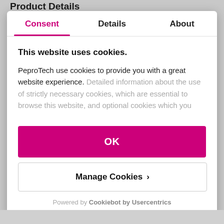Product Details
Consent | Details | About
This website uses cookies.
PeproTech use cookies to provide you with a great website experience. Detailed information about the use of strictly necessary cookies, which are essential to browse this website, and optional cookies which you
OK
Manage Cookies >
Powered by Cookiebot by Usercentrics